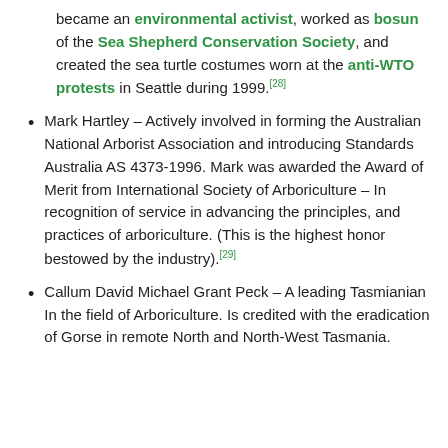became an environmental activist, worked as bosun of the Sea Shepherd Conservation Society, and created the sea turtle costumes worn at the anti-WTO protests in Seattle during 1999.[28]
Mark Hartley – Actively involved in forming the Australian National Arborist Association and introducing Standards Australia AS 4373-1996. Mark was awarded the Award of Merit from International Society of Arboriculture – In recognition of service in advancing the principles, and practices of arboriculture. (This is the highest honor bestowed by the industry).[29]
Callum David Michael Grant Peck – A leading Tasmianian In the field of Arboriculture. Is credited with the eradication of Gorse in remote North and North-West Tasmania.